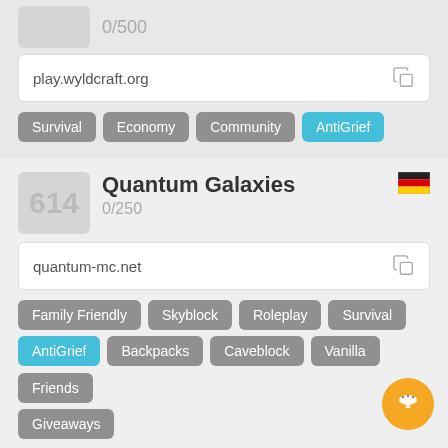0/500
play.wyldcraft.org
Survival
Economy
Community
AntiGrief
614
Quantum Galaxies
0/250
quantum-mc.net
Family Friendly
Skyblock
Roleplay
Survival
AntiGrief
Backpacks
Caveblock
Vanilla
Friends
Giveaways
639
Salt and Light
2/18